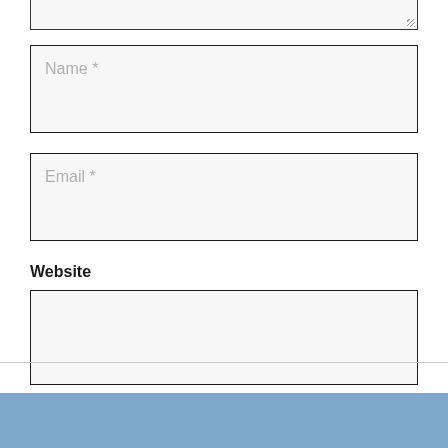[Figure (screenshot): Top portion of a textarea input box (partially visible at top of page), with a resize handle in the bottom-right corner]
Name *
Email *
Website
[Figure (screenshot): Empty text input box for Website field]